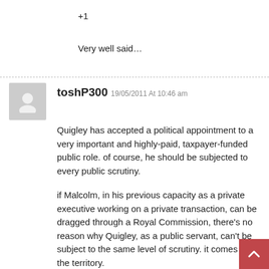+1
Very well said…
toshP300 19/05/2011 At 10:46 am
Quigley has accepted a political appointment to a very important and highly-paid, taxpayer-funded public role. of course, he should be subjected to every public scrutiny.
if Malcolm, in his previous capacity as a private executive working on a private transaction, can be dragged through a Royal Commission, there's no reason why Quigley, as a public servant, can't be subject to the same level of scrutiny. it comes with the territory.
if you've responded to all questions and queries posed with total honesty, what have you got to be afraid of? NBNco is not some private club or